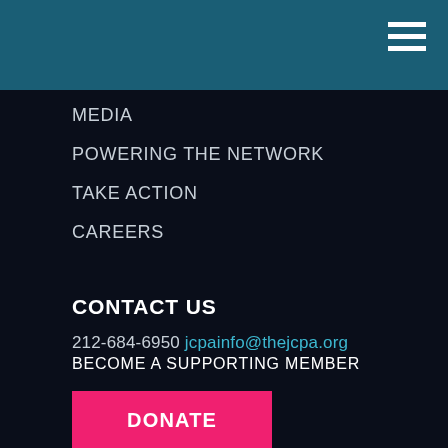MEDIA
POWERING THE NETWORK
TAKE ACTION
CAREERS
CONTACT US
212-684-6950 jcpainfo@thejcpa.org
BECOME A SUPPORTING MEMBER
DONATE